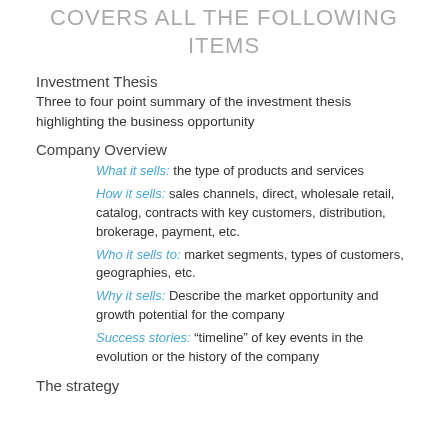COVERS ALL THE FOLLOWING ITEMS
Investment Thesis
Three to four point summary of the investment thesis highlighting the business opportunity
Company Overview
What it sells: the type of products and services
How it sells: sales channels, direct, wholesale retail, catalog, contracts with key customers, distribution, brokerage, payment, etc.
Who it sells to: market segments, types of customers, geographies, etc.
Why it sells: Describe the market opportunity and growth potential for the company
Success stories: “timeline” of key events in the evolution or the history of the company
The strategy